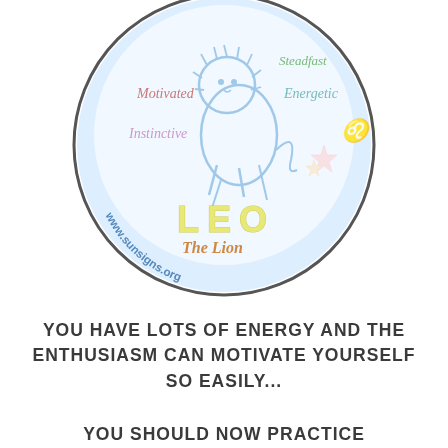[Figure (illustration): Leo zodiac circular badge with a cartoon lion illustration, traits labeled (Motivated, Energetic, Instinctive, Steadfast), 'LEO The Lion' text in yellow, Leo symbol, and website www.sunsigns.org along the bottom arc of the circle.]
YOU HAVE LOTS OF ENERGY AND THE ENTHUSIASM CAN MOTIVATE YOURSELF SO EASILY...
YOU SHOULD NOW PRACTICE